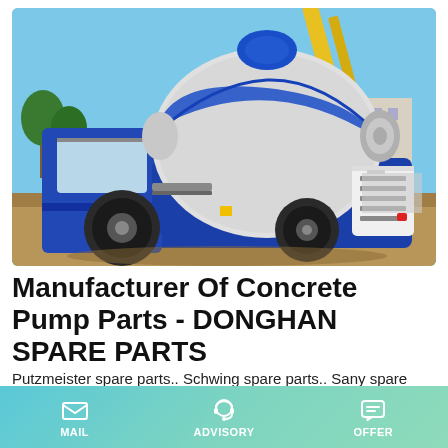[Figure (photo): A blue and white self-loading concrete mixer truck at a construction site. The large rotating drum is white with blue accents. A yellow crane arm is visible in the background. The setting shows a sandy construction area with buildings in the background under a clear blue sky.]
Manufacturer Of Concrete Pump Parts - DONGHAN SPARE PARTS
Putzmeister spare parts.. Schwing spare parts.. Sany spare parts Zoomolion spare parts Cifa spare parts.. Sermac spare parts Kyokuto spare parts Truck Mixer spare parts...
MAIL | ADVISORY | OFFER